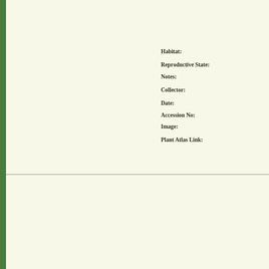Habitat:
Reproductive State:
Notes:
Collector:
Date:
Accession No:
Image:
Plant Atlas Link:
[Figure (photo): Pressed herbarium specimen of a plant with dried stems, leaves, and yellow flowers mounted on white paper with a blue label attached]
Family Name:
Currently Accepted Name: